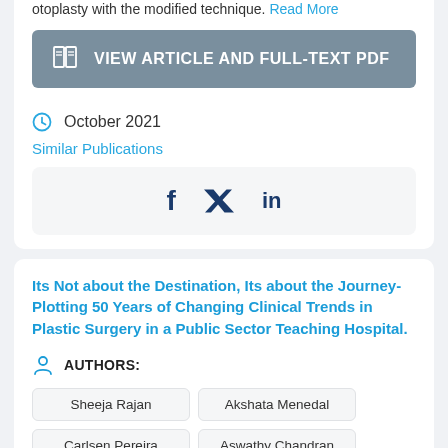otoplasty with the modified technique. Read More
VIEW ARTICLE AND FULL-TEXT PDF
October 2021
Similar Publications
[Figure (other): Social media share icons: Facebook (f), Twitter (bird), LinkedIn (in)]
Its Not about the Destination, Its about the Journey-Plotting 50 Years of Changing Clinical Trends in Plastic Surgery in a Public Sector Teaching Hospital.
AUTHORS:
Sheeja Rajan
Akshata Menedal
Carlsen Pereira
Aswathy Chandran